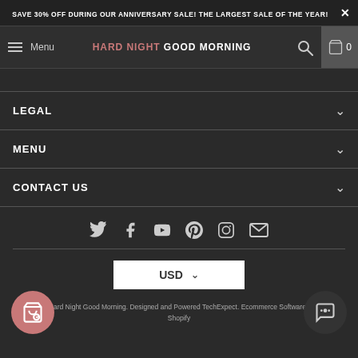SAVE 30% OFF DURING OUR ANNIVERSARY SALE! THE LARGEST SALE OF THE YEAR!
Menu | HARD NIGHT GOOD MORNING | 0
LEGAL
MENU
CONTACT US
[Figure (illustration): Social media icons row: Twitter, Facebook, YouTube, Pinterest, Instagram, Email]
USD
2 Hard Night Good Morning. Designed and Powered TechExpect. Ecommerce Software by Shopify